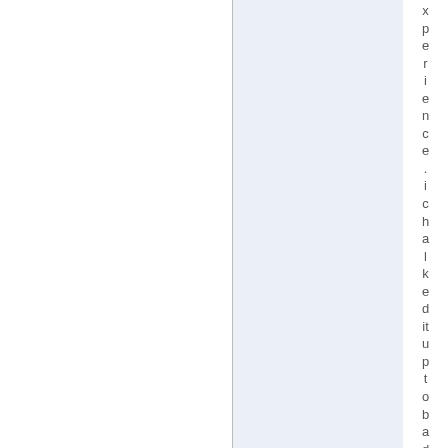xperience. i chalked it up to bad luck